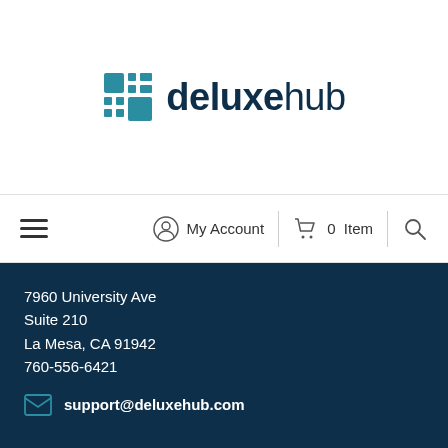[Figure (logo): deluxehub logo with teal grid icon and text 'deluxehub']
≡  My Account  |  🛒 0 Item  |  🔍
7960 University Ave
Suite 210
La Mesa, CA 91942
760-556-6421
support@deluxehub.com
Help
Contact Us
Privacy Policy